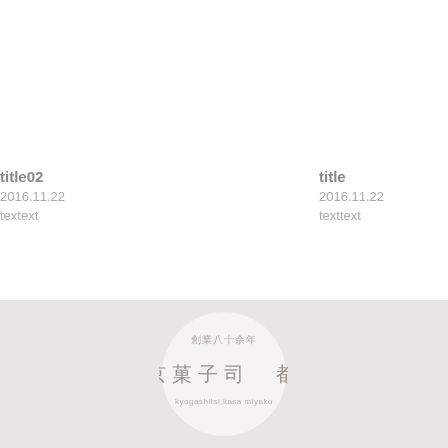title02
2016.11.22
textext
title
2016.11.22
texttext
[Figure (logo): Circular logo with Japanese text reading 創業八十余年 and 京菓子司 都 with romanization kyogashitsi.kasa miyako, light grey circle on grey background]